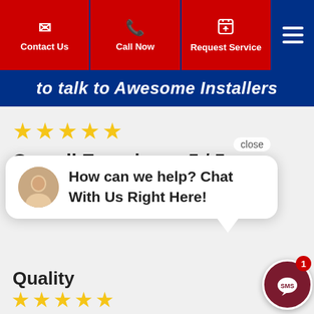Contact Us | Call Now | Request Service
to talk to Awesome Installers
★★★★★
Overall Experience 5 / 5
[Figure (screenshot): Chat widget popup with woman avatar and text: How can we help? Chat With Us Right Here!]
Quality
★★★★★
Price
★★★★★